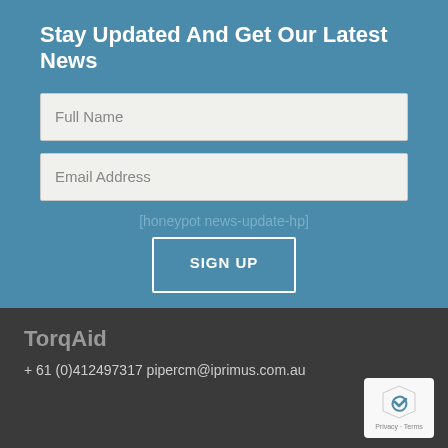Stay Updated And Get Our Latest News
Full Name
Email Address
[honeypot news-update-hp]
SIGN UP
TorqAid
+ 61 (0)412497317 pipercm@iprimus.com.au
[Figure (logo): Google reCAPTCHA badge with shield icon and Privacy - Terms text]